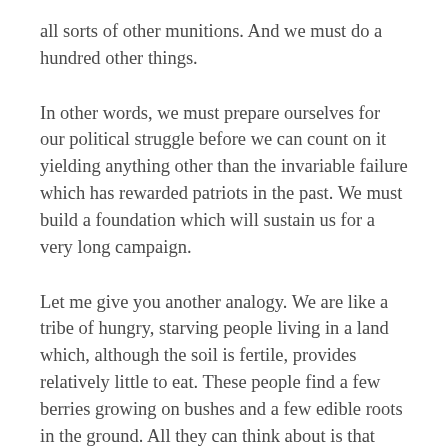all sorts of other munitions. And we must do a hundred other things.
In other words, we must prepare ourselves for our political struggle before we can count on it yielding anything other than the invariable failure which has rewarded patriots in the past. We must build a foundation which will sustain us for a very long campaign.
Let me give you another analogy. We are like a tribe of hungry, starving people living in a land which, although the soil is fertile, provides relatively little to eat. These people find a few berries growing on bushes and a few edible roots in the ground. All they can think about is that they are hungry and they must fill their bellies. This is their immediate problem. They spend all of their time, day after day, year after year, hunting for these scarce berries an